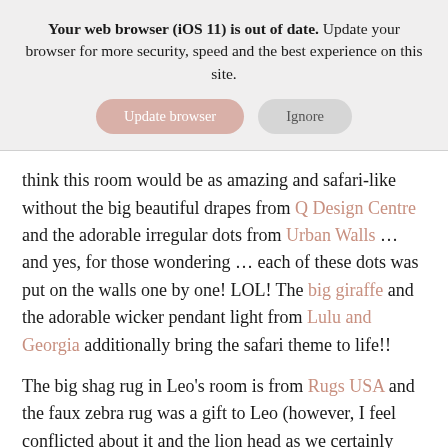Your web browser (iOS 11) is out of date. Update your browser for more security, speed and the best experience on this site.
[Figure (other): Two buttons: 'Update browser' (salmon/pink rounded) and 'Ignore' (grey rounded)]
think this room would be as amazing and safari-like without the big beautiful drapes from Q Design Centre and the adorable irregular dots from Urban Walls … and yes, for those wondering … each of these dots was put on the walls one by one! LOL! The big giraffe and the adorable wicker pendant light from Lulu and Georgia additionally bring the safari theme to life!!
The big shag rug in Leo's room is from Rugs USA and the faux zebra rug was a gift to Leo (however, I feel conflicted about it and the lion head as we certainly don't support trophy hunting and I wouldn't choose these items again in another